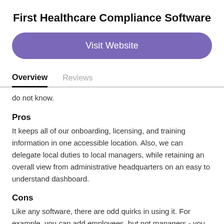First Healthcare Compliance Software
Visit Website
Overview
Reviews
do not know.
Pros
It keeps all of our onboarding, licensing, and training information in one accessible location. Also, we can delegate local duties to local managers, while retaining an overall view from administrative headquarters on an easy to understand dashboard.
Cons
Like any software, there are odd quirks in using it. For example, you can add employees, but not managers - you